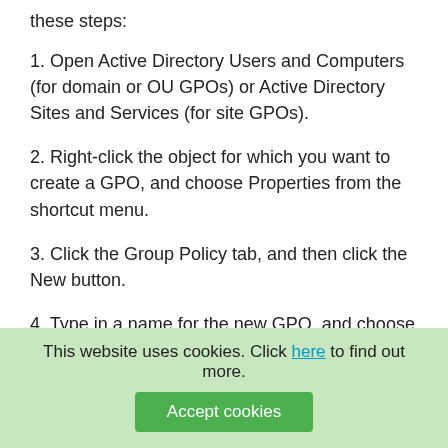these steps:
1. Open Active Directory Users and Computers (for domain or OU GPOs) or Active Directory Sites and Services (for site GPOs).
2. Right-click the object for which you want to create a GPO, and choose Properties from the shortcut menu.
3. Click the Group Policy tab, and then click the New button.
4. Type in a name for the new GPO, and choose one of the following buttons:
Add To add a link to the new policy.
Edit To open the new GPO in the Group Policy Editor.
Options To set No Override or to disable the GPO...